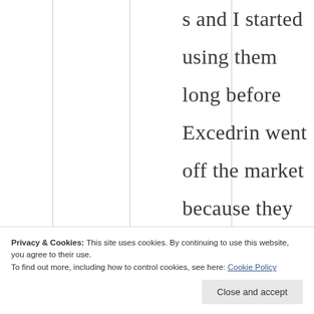s and I started using them long before Excedrin went off the market because they were as well
Privacy & Cookies: This site uses cookies. By continuing to use this website, you agree to their use.
To find out more, including how to control cookies, see here: Cookie Policy
Close and accept